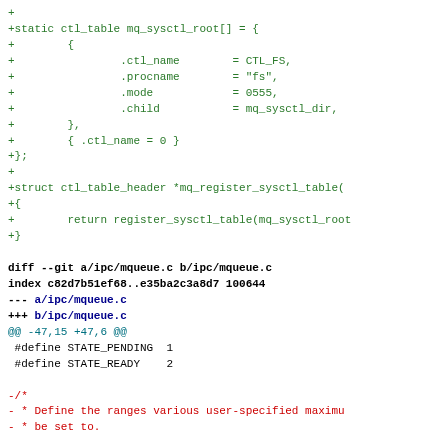Code diff showing mq_sysctl_root table definition and mq_register_sysctl_table function, followed by git diff header for ipc/mqueue.c with context lines showing STATE_PENDING and STATE_READY defines and removal of comment about user-specified maximum ranges.